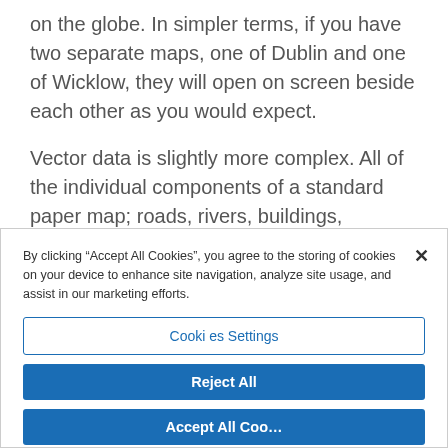on the globe. In simpler terms, if you have two separate maps, one of Dublin and one of Wicklow, they will open on screen beside each other as you would expect.
Vector data is slightly more complex. All of the individual components of a standard paper map; roads, rivers, buildings, contours, towns etc are
By clicking “Accept All Cookies”, you agree to the storing of cookies on your device to enhance site navigation, analyze site usage, and assist in our marketing efforts.
Cookies Settings
Reject All
Accept All Cookies